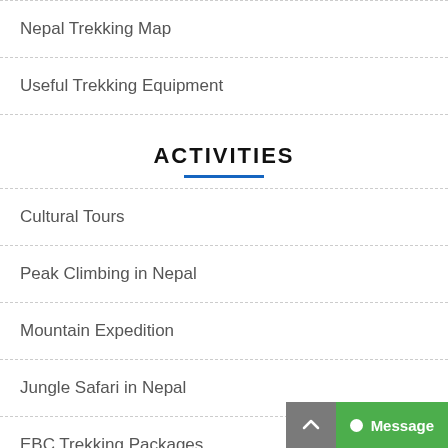Nepal Trekking Map
Useful Trekking Equipment
ACTIVITIES
Cultural Tours
Peak Climbing in Nepal
Mountain Expedition
Jungle Safari in Nepal
EBC Trekking Packages